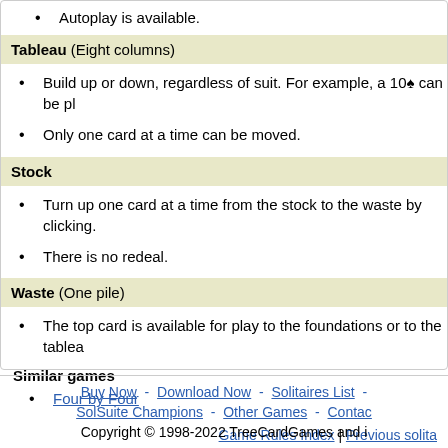Autoplay is available.
Tableau (Eight columns)
Build up or down, regardless of suit. For example, a 10♠ can be pl
Only one card at a time can be moved.
Stock
Turn up one card at a time from the stock to the waste by clicking.
There is no redeal.
Waste (One pile)
The top card is available for play to the foundations or to the tablea
Similar games
Four by Four
Game Rules Index | Previous solita
Buy Now - Download Now - Solitaires List - SolSuite Champions - Other Games - Contac   Copyright © 1998-2022 TreeCardGames and i